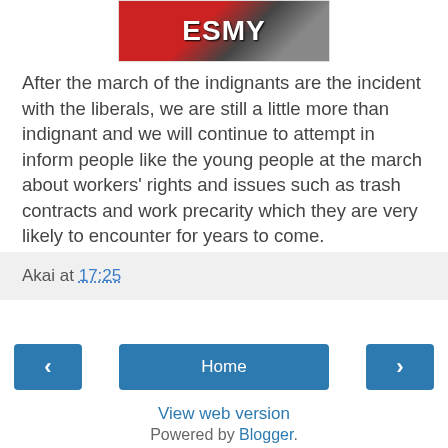[Figure (photo): Protest photo showing red banner with partial text 'ESMY' and people in background]
After the march of the indignants are the incident with the liberals, we are still a little more than indignant and we will continue to attempt in inform people like the young people at the march about workers' rights and issues such as trash contracts and work precarity which they are very likely to encounter for years to come.
Akai at 17:25
Home
View web version
Powered by Blogger.